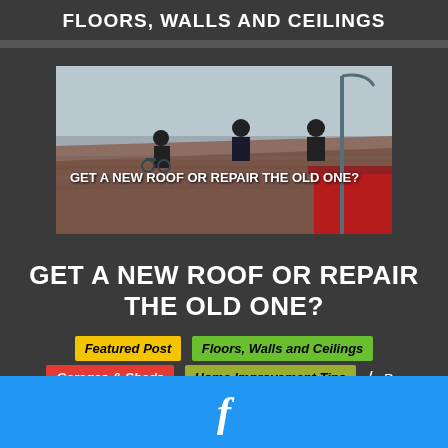FLOORS, WALLS AND CEILINGS
[Figure (photo): Workers on a rooftop performing roofing work, with text overlay reading GET A NEW ROOF OR REPAIR THE OLD ONE?]
GET A NEW ROOF OR REPAIR THE OLD ONE?
Featured Post  Floors, Walls and Ceilings  Garages & Sheds  Home Improvement Tips / By:
f (Facebook icon)